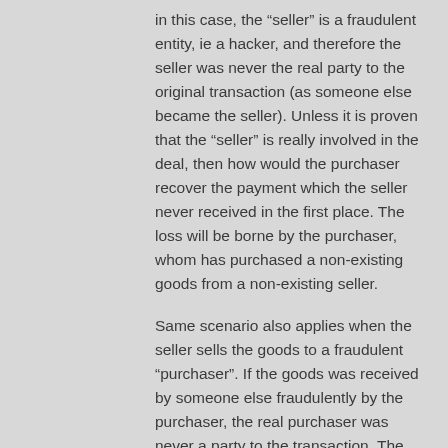in this case, the “seller” is a fraudulent entity, ie a hacker, and therefore the seller was never the real party to the original transaction (as someone else became the seller). Unless it is proven that the “seller” is really involved in the deal, then how would the purchaser recover the payment which the seller never received in the first place. The loss will be borne by the purchaser, whom has purchased a non-existing goods from a non-existing seller.
Same scenario also applies when the seller sells the goods to a fraudulent “purchaser”. If the goods was received by someone else fraudulently by the purchaser, the real purchaser was never a party to the transaction. The loss will be borne by the seller.
It is an unfortunate scenario which will be